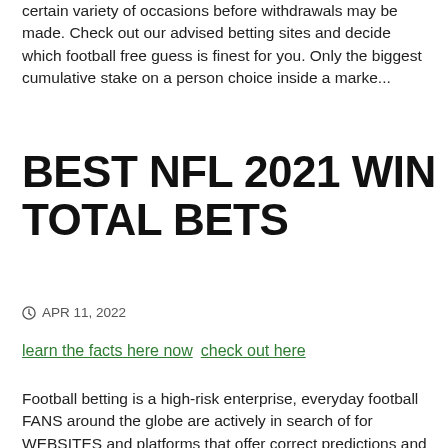certain variety of occasions before withdrawals may be made. Check out our advised betting sites and decide which football free guess is finest for you. Only the biggest cumulative stake on a person choice inside a marke...
BEST NFL 2021 WIN TOTAL BETS
APR 11, 2022
learn the facts here now   check out here
Football betting is a high-risk enterprise, everyday football FANS around the globe are actively in search of for WEBSITES and platforms that offer correct predictions and PROFITS over check these guys out the lengthy run. It is a...